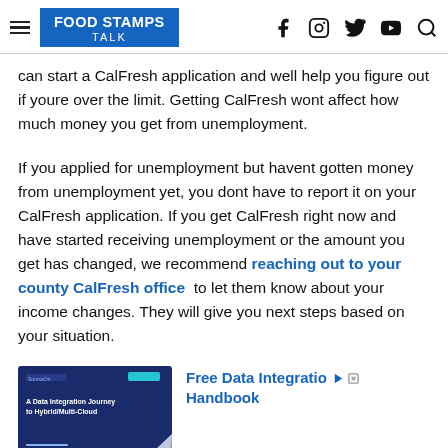Food Stamps Talk
can start a CalFresh application and well help you figure out if youre over the limit. Getting CalFresh wont affect how much money you get from unemployment.
If you applied for unemployment but havent gotten money from unemployment yet, you dont have to report it on your CalFresh application. If you get CalFresh right now and have started receiving unemployment or the amount you get has changed, we recommend reaching out to your county CalFresh office to let them know about your income changes. They will give you next steps based on your situation.
[Figure (screenshot): Advertisement image showing a dark blue booklet cover titled 'A Data Integration Journey to Hybrid/Multi-Cloud']
Free Data Integration Handbook
Ad